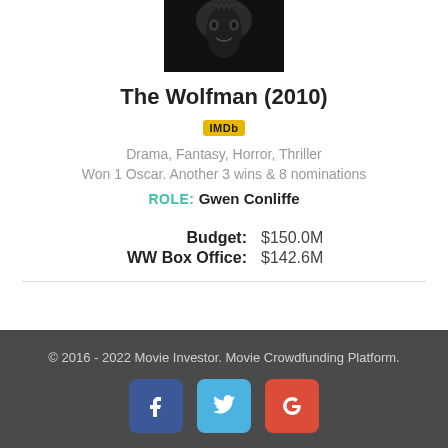[Figure (photo): Black and white dark photo, partial wolf/creature image cropped at top]
The Wolfman (2010)
[Figure (logo): IMDb yellow badge logo]
Drama, Fantasy, Horror, Thriller
Won 1 Oscar. Another 3 wins & 8 nominations
ROLE: Gwen Conliffe
Budget: $150.0M
WW Box Office: $142.6M
© 2016 - 2022 Movie Investor. Movie Crowdfunding Platform.